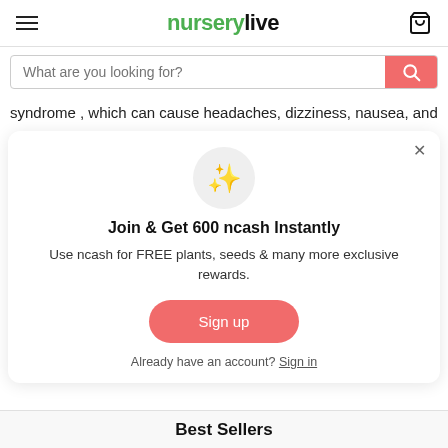nurserylive
[Figure (screenshot): Search bar with placeholder 'What are you looking for?' and a red search button]
syndrome , which can cause headaches, dizziness, nausea, and
[Figure (infographic): Modal popup: sparkle emoji icon in grey circle, title 'Join & Get 600 ncash Instantly', description 'Use ncash for FREE plants, seeds & many more exclusive rewards.', Sign up button, 'Already have an account? Sign in' link]
Best Sellers